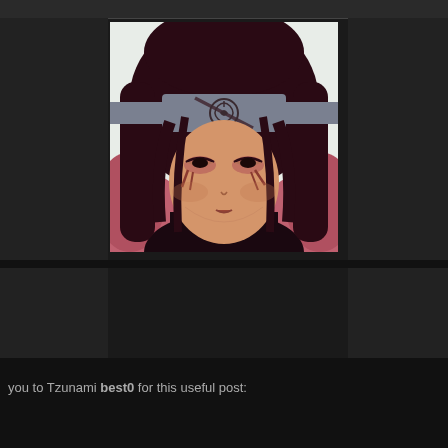[Figure (illustration): Anime character illustration: Itachi Uchiha from Naruto, showing a close-up face with dark hair, Konoha headband with scratch mark, dark eyes with markings under them, and dark collar/cloak. Character has a serious expression looking downward.]
you to Tzunami best0 for this useful post: